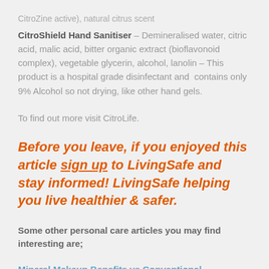CitroShield Hand Sanitiser – Demineralised water, citric acid, malic acid, bitter organic extract (bioflavonoid complex), vegetable glycerin, alcohol, lanolin – This product is a hospital grade disinfectant and contains only 9% Alcohol so not drying, like other hand gels.
To find out more visit CitroLife.
Before you leave, if you enjoyed this article sign up to LivingSafe and stay informed! LivingSafe helping you live healthier & safer.
Some other personal care articles you may find interesting are;
Mineral Makeup Benefits vs Conventional